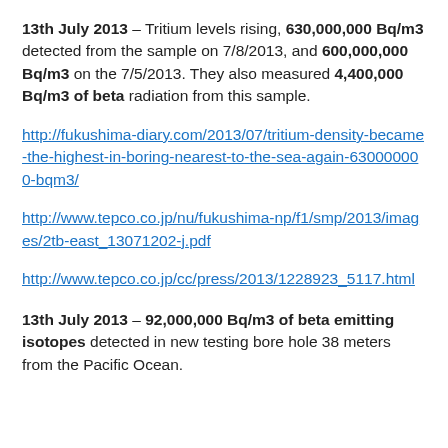13th July 2013 – Tritium levels rising, 630,000,000 Bq/m3 detected from the sample on 7/8/2013, and 600,000,000 Bq/m3 on the 7/5/2013. They also measured 4,400,000 Bq/m3 of beta radiation from this sample.
http://fukushima-diary.com/2013/07/tritium-density-became-the-highest-in-boring-nearest-to-the-sea-again-630000000-bqm3/
http://www.tepco.co.jp/nu/fukushima-np/f1/smp/2013/images/2tb-east_13071202-j.pdf
http://www.tepco.co.jp/cc/press/2013/1228923_5117.html
13th July 2013 – 92,000,000 Bq/m3 of beta emitting isotopes detected in new testing bore hole 38 meters from the Pacific Ocean.